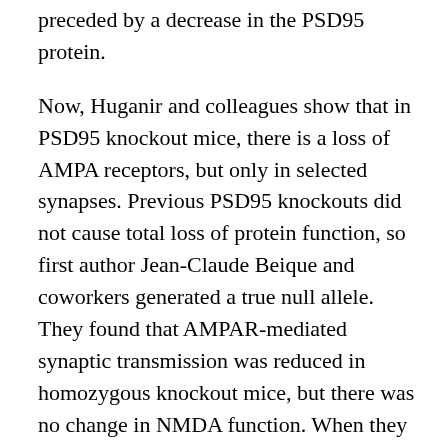preceded by a decrease in the PSD95 protein.
Now, Huganir and colleagues show that in PSD95 knockout mice, there is a loss of AMPA receptors, but only in selected synapses. Previous PSD95 knockouts did not cause total loss of protein function, so first author Jean-Claude Beique and coworkers generated a true null allele. They found that AMPAR-mediated synaptic transmission was reduced in homozygous knockout mice, but there was no change in NMDA function. When they analyzed the function of individual synapses using a caged glutamate compound, they found that, curiously, the knockout had synapse-specific effects. Many synapses were unaffected by the knockout, while in others AMPAR-mediated neurotransmission was absent.
The loss of PSD95 did not affect the ability to enhance AMPAR numbers during LTP. On the contrary, the mice